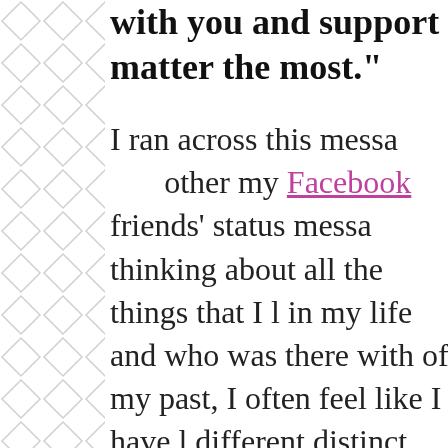with you and support you are matter the most."
I ran across this messa other my Facebook friends' status messa thinking about all the things that I l in my life and who was there with of my past, I often feel like I have l different distinct lives within my o looking at my life as a book is a go started with my grade school, high chapters. Then I experienced a 'gir with my cancer chapter. After I fini